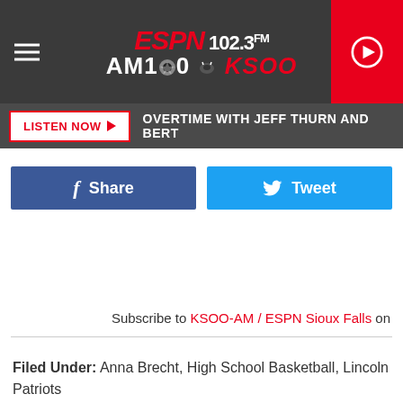[Figure (logo): ESPN 102.3 FM AM 1000 KSOO radio station header logo with hamburger menu and play button]
LISTEN NOW ▶  OVERTIME WITH JEFF THURN AND BERT
Share  Tweet
Subscribe to KSOO-AM / ESPN Sioux Falls on
Filed Under: Anna Brecht, High School Basketball, Lincoln Patriots
Categories: Articles, Newsletter ESPN, Sports
Comments
LEAVE A COMMENT